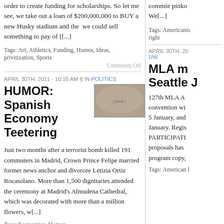order to create funding for scholarships. So let me see, we take out a loan of $200,000,000 to BUY a new Husky stadium and the we could sell something to pay of [[...]
Tags: Art, Athletics, Funding, Humor, Ideas, privitization, Sports
Comments Off
APRIL 30TH, 2011 - 10:16 AM § IN POLITICS
HUMOR: Spanish Economy Teetering
[Figure (photo): Group photo of Spanish royalty and wedding party at what appears to be a royal wedding ceremony]
Just two months after a terrorist bomb killed 191 commuters in Madrid, Crown Prince Felipe married former news anchor and divorcee Letizia Ortiz Rocasolano. More than 1,500 dignitaries attended the ceremony at Madrid's Almudena Cathedral, which was decorated with more than a million flowers, w[...]
Tags: Economics, Humor
Comments Off
commie pinko We[...]
Tags: Americanism right
APRIL 30TH, 20 UW
MLA m Seattle J
127th MLA A convention wi 5 January, and January. Regis PARTICIPATI proposals has program copy,
Tags: American l